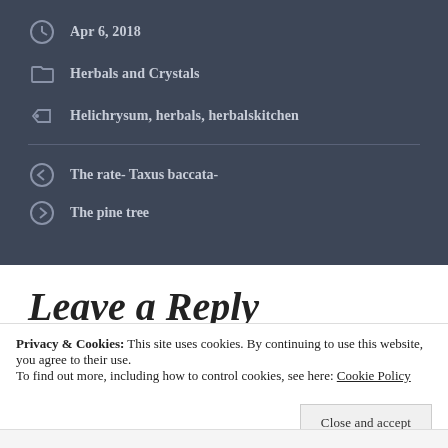Apr 6, 2018
Herbals and Crystals
Helichrysum, herbals, herbalskitchen
The rate- Taxus baccata-
The pine tree
Leave a Reply
Privacy & Cookies: This site uses cookies. By continuing to use this website, you agree to their use.
To find out more, including how to control cookies, see here: Cookie Policy
Close and accept